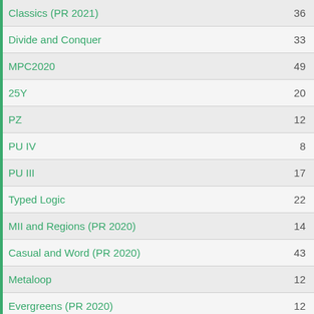| Contest | Count |
| --- | --- |
| Classics (PR 2021) | 36 |
| Divide and Conquer | 33 |
| MPC2020 | 49 |
| 25Y | 20 |
| PZ | 12 |
| PU IV | 8 |
| PU III | 17 |
| Typed Logic | 22 |
| MII and Regions (PR 2020) | 14 |
| Casual and Word (PR 2020) | 43 |
| Metaloop | 12 |
| Evergreens (PR 2020) | 12 |
| April Contest 2020 | 15 |
| Shading and Loops (PR 2020) | 14 |
| Number and Object Placement (PR 2020) | 32 |
| Classics (PR 2020) | 14 |
| PuzzlersClub 2 | 10 |
| PuzzlersClub 1 | 17 |